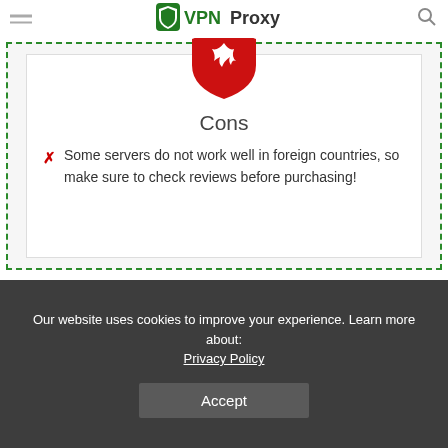VPNProxy
[Figure (logo): VPNProxy logo with shield icon and green text]
Cons
Some servers do not work well in foreign countries, so make sure to check reviews before purchasing!
You don’t have to worry about technical know-how as Surfshark has it all covered for you. All of this makes Surfshark one of the best VPN services out there.
Our website uses cookies to improve your experience. Learn more about: Privacy Policy
Accept